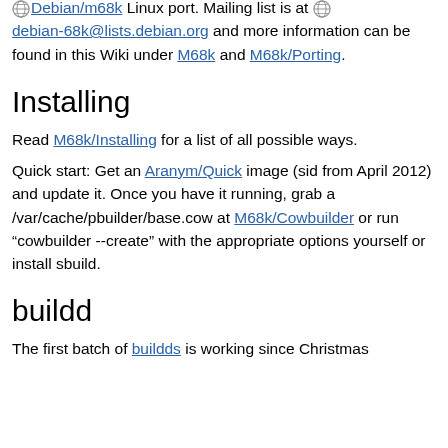This page attempts to track the current issues of the Debian/m68k Linux port. Mailing list is at debian-68k@lists.debian.org and more information can be found in this Wiki under M68k and M68k/Porting.
Installing
Read M68k/Installing for a list of all possible ways.
Quick start: Get an Aranym/Quick image (sid from April 2012) and update it. Once you have it running, grab a /var/cache/pbuilder/base.cow at M68k/Cowbuilder or run “cowbuilder --create” with the appropriate options yourself or install sbuild.
buildd
The first batch of buildds is working since Christmas 2012, the latest Clang 1...